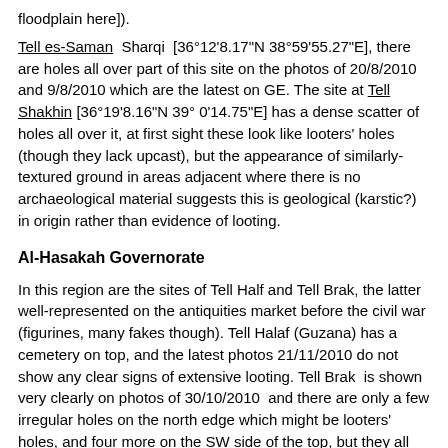floodplain here]).
Tell es-Saman Sharqi [36°12'8.17"N 38°59'55.27"E], there are holes all over part of this site on the photos of 20/8/2010 and 9/8/2010 which are the latest on GE. The site at Tell Shakhin [36°19'8.16"N 39° 0'14.75"E] has a dense scatter of holes all over it, at first sight these look like looters' holes (though they lack upcast), but the appearance of similarly-textured ground in areas adjacent where there is no archaeological material suggests this is geological (karstic?) in origin rather than evidence of looting.
Al-Hasakah Governorate
In this region are the sites of Tell Half and Tell Brak, the latter well-represented on the antiquities market before the civil war (figurines, many fakes though). Tell Halaf (Guzana) has a cemetery on top, and the latest photos 21/11/2010 do not show any clear signs of extensive looting. Tell Brak is shown very clearly on photos of 30/10/2010 and there are only a few irregular holes on the north edge which might be looters' holes, and four more on the SW side of the top, but they all